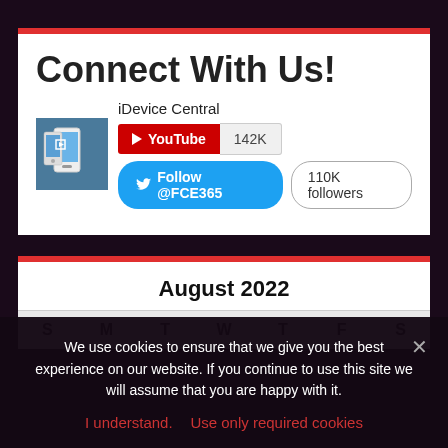Connect With Us!
iDevice Central
YouTube 142K
Follow @FCE365  110K followers
August 2022
| S | M | T | W | T | F | S |
| --- | --- | --- | --- | --- | --- | --- |
We use cookies to ensure that we give you the best experience on our website. If you continue to use this site we will assume that you are happy with it.
I understand.   Use only required cookies